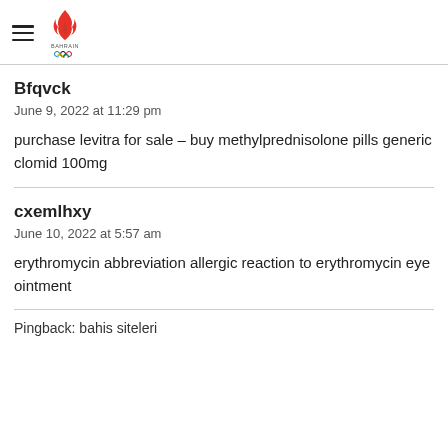Bahrain Olympic Committee
Bfqvck
June 9, 2022 at 11:29 pm
purchase levitra for sale – buy methylprednisolone pills generic clomid 100mg
cxemlhxy
June 10, 2022 at 5:57 am
erythromycin abbreviation allergic reaction to erythromycin eye ointment
Pingback: bahis siteleri